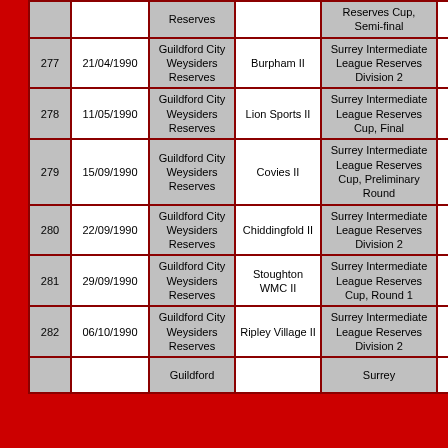| # | Date | Team | Opponent | Competition | V |
| --- | --- | --- | --- | --- | --- |
|  |  | Reserves |  | Reserves Cup, Semi-final |  |
| 277 | 21/04/1990 | Guildford City Weysiders Reserves | Burpham II | Surrey Intermediate League Reserves Division 2 | A |
| 278 | 11/05/1990 | Guildford City Weysiders Reserves | Lion Sports II | Surrey Intermediate League Reserves Cup, Final | N |
| 279 | 15/09/1990 | Guildford City Weysiders Reserves | Covies II | Surrey Intermediate League Reserves Cup, Preliminary Round | A |
| 280 | 22/09/1990 | Guildford City Weysiders Reserves | Chiddingfold II | Surrey Intermediate League Reserves Division 2 | H |
| 281 | 29/09/1990 | Guildford City Weysiders Reserves | Stoughton WMC II | Surrey Intermediate League Reserves Cup, Round 1 | A |
| 282 | 06/10/1990 | Guildford City Weysiders Reserves | Ripley Village II | Surrey Intermediate League Reserves Division 2 | H |
|  |  | Guildford... |  | Surrey... |  |